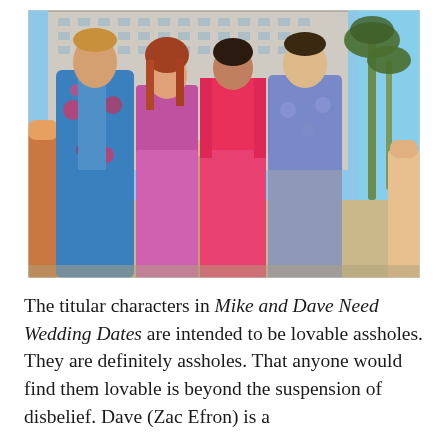[Figure (photo): A group of four main characters from the movie Mike and Dave Need Wedding Dates, standing outdoors near a hotel building with palm trees in the background. From left to right: a tall man in a floral Hawaiian shirt, a woman in a magenta dress, a woman in a hot pink dress, and a man in a blue patterned shirt. Other people are visible in the background.]
The titular characters in Mike and Dave Need Wedding Dates are intended to be lovable assholes. They are definitely assholes. That anyone would find them lovable is beyond the suspension of disbelief. Dave (Zac Efron) is a